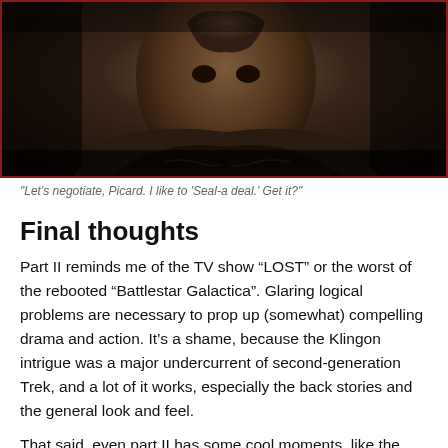[Figure (photo): Dark, dimly lit close-up photo of a Klingon character from Star Trek, wearing dark ornate robes/armor, against a dark background. The image has a dark reddish-brown border.]
"Let's negotiate, Picard. I like to 'Seal-a deal.' Get it?"
Final thoughts
Part II reminds me of the TV show “LOST” or the worst of the rebooted “Battlestar Galactica”. Glaring logical problems are necessary to prop up (somewhat) compelling drama and action. It’s a shame, because the Klingon intrigue was a major undercurrent of second-generation Trek, and a lot of it works, especially the back stories and the general look and feel.
That said, even part II has some cool moments, like the scene on Kurn’s ship to start the episode. The Klingon stuff in TNG is really the closest thing the series had to a mini arc (other than